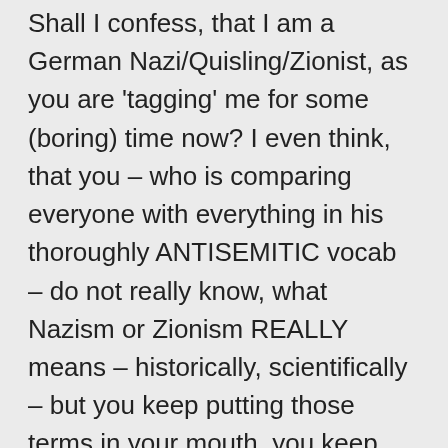Shall I confess, that I am a German Nazi/Quisling/Zionist, as you are 'tagging' me for some (boring) time now? I even think, that you – who is comparing everyone with everything in his thoroughly ANTISEMITIC vocab – do not really know, what Nazism or Zionism REALLY means – historically, scientifically – but you keep putting those terms in your mouth, you keep mumbling accusations in my direction … .
No, @Gerry, I am not 'Anti-Slavic'.
I DO NOT THINK IN RACIAL CATEGORIES – as 'Slavism' (as I